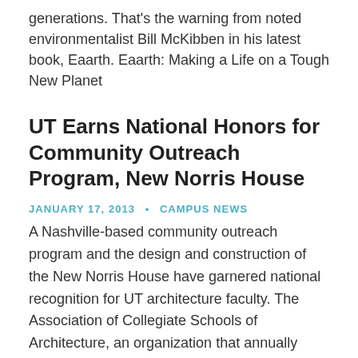generations. That's the warning from noted environmentalist Bill McKibben in his latest book, Eaarth. Eaarth: Making a Life on a Tough New Planet
UT Earns National Honors for Community Outreach Program, New Norris House
JANUARY 17, 2013 • CAMPUS NEWS
A Nashville-based community outreach program and the design and construction of the New Norris House have garnered national recognition for UT architecture faculty. The Association of Collegiate Schools of Architecture, an organization that annually honors architectural educators for exemplary work, has